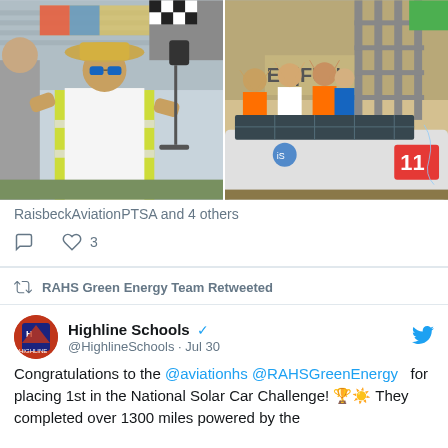[Figure (photo): Two side-by-side photos: left shows a man in a yellow safety vest and straw hat at an outdoor event; right shows a team celebrating next to a solar car with raised hands]
RaisbeckAviationPTSA and 4 others
3 likes (heart icon), comment icon
RAHS Green Energy Team Retweeted
Highline Schools @HighlineSchools · Jul 30
Congratulations to the @aviationhs @RAHSGreenEnergy  for placing 1st in the National Solar Car Challenge! 🏆☀️ They completed over 1300 miles powered by the